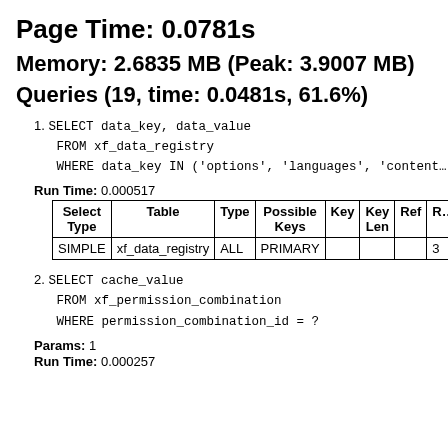Page Time: 0.0781s
Memory: 2.6835 MB (Peak: 3.9007 MB)
Queries (19, time: 0.0481s, 61.6%)
SELECT data_key, data_value
    FROM xf_data_registry
    WHERE data_key IN ('options', 'languages', 'content…
Run Time: 0.000517
| Select Type | Table | Type | Possible Keys | Key | Key Len | Ref | R… |
| --- | --- | --- | --- | --- | --- | --- | --- |
| SIMPLE | xf_data_registry | ALL | PRIMARY |  |  |  | 3 |
SELECT cache_value
    FROM xf_permission_combination
    WHERE permission_combination_id = ?
Params: 1
Run Time: 0.000257